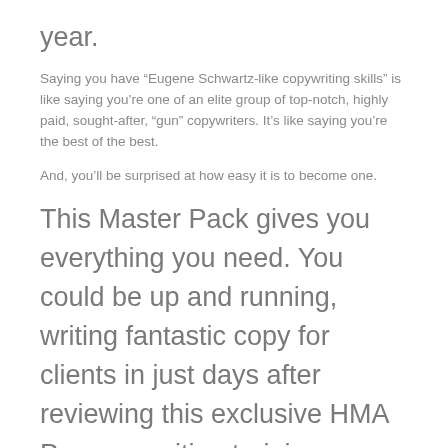year.
Saying you have “Eugene Schwartz-like copywriting skills” is like saying you’re one of an elite group of top-notch, highly paid, sought-after, “gun” copywriters. It’s like saying you’re the best of the best.
And, you’ll be surprised at how easy it is to become one.
This Master Pack gives you everything you need. You could be up and running, writing fantastic copy for clients in just days after reviewing this exclusive HMA Pro copywriting training.
HMA Pro Resource # 20:
COPYWRITING EXPERT INTERVIEW SERIES